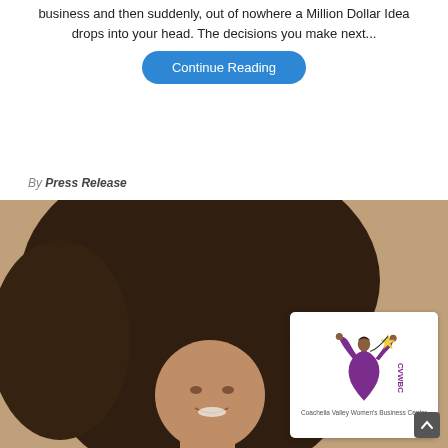business and then suddenly, out of nowhere a Million Dollar Idea drops into your head. The decisions you make next...
Continue Reading
By Press Release
[Figure (photo): Woman with large curly hair smiling, with CVWBC (Coachella Valley Women's Business Center) logo overlay in bottom right corner]